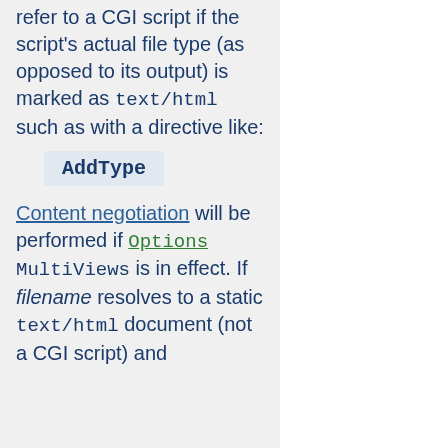refer to a CGI script if the script's actual file type (as opposed to its output) is marked as text/html such as with a directive like:
AddType
Content negotiation will be performed if Options MultiViews is in effect. If filename resolves to a static text/html document (not a CGI script) and